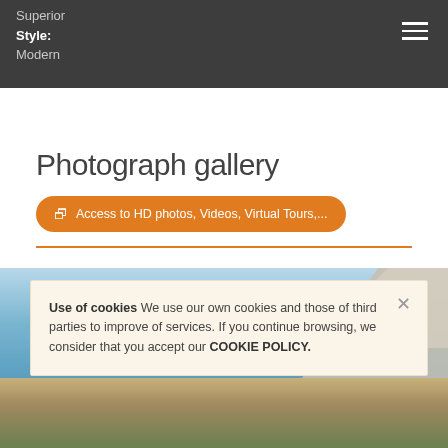Superior
Style: Modern
Photograph gallery
Access to HD photos, Videos, Virtual Tours,...
[Figure (photo): Exterior photo of a modern villa with sky background and landscape]
Use of cookies We use our own cookies and those of third parties to improve of services. If you continue browsing, we consider that you accept our COOKIE POLICY.